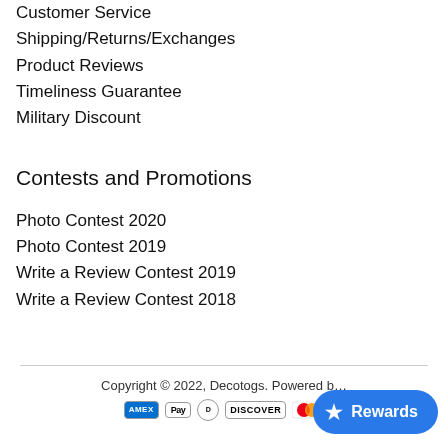Customer Service
Shipping/Returns/Exchanges
Product Reviews
Timeliness Guarantee
Military Discount
Contests and Promotions
Photo Contest 2020
Photo Contest 2019
Write a Review Contest 2019
Write a Review Contest 2018
Copyright © 2022, Decotogs. Powered b…